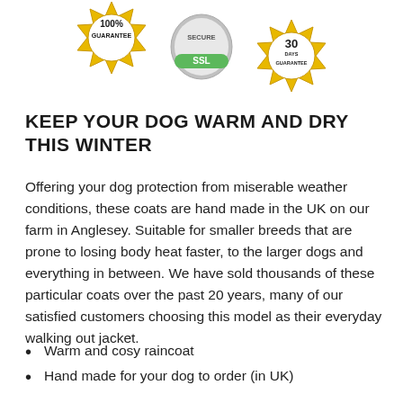[Figure (illustration): Three trust/guarantee badges: a gold '100% Guarantee' badge on the left, a silver-green 'SSL' security badge in the center, and a gold '30 Days Guarantee' badge on the right.]
KEEP YOUR DOG WARM AND DRY THIS WINTER
Offering your dog protection from miserable weather conditions, these coats are hand made in the UK on our farm in Anglesey. Suitable for smaller breeds that are prone to losing body heat faster, to the larger dogs and everything in between. We have sold thousands of these particular coats over the past 20 years, many of our satisfied customers choosing this model as their everyday walking out jacket.
Warm and cosy raincoat
Hand made for your dog to order (in UK)